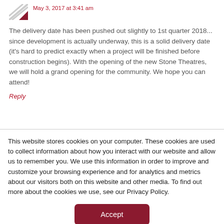[Figure (logo): Red and white striped diagonal logo/avatar icon]
May 3, 2017 at 3:41 am
The delivery date has been pushed out slightly to 1st quarter 2018... since development is actually underway, this is a solid delivery date (it's hard to predict exactly when a project will be finished before construction begins). With the opening of the new Stone Theatres, we will hold a grand opening for the community. We hope you can attend!
Reply
This website stores cookies on your computer. These cookies are used to collect information about how you interact with our website and allow us to remember you. We use this information in order to improve and customize your browsing experience and for analytics and metrics about our visitors both on this website and other media. To find out more about the cookies we use, see our Privacy Policy.